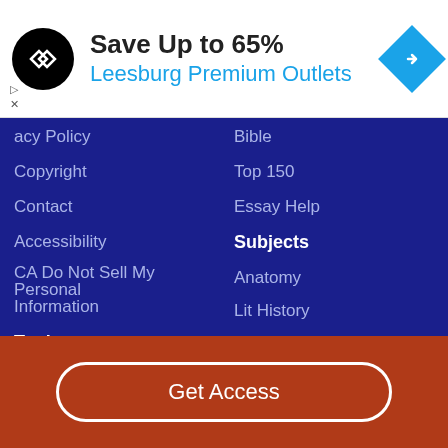[Figure (screenshot): Advertisement banner: black circular logo with double arrow icon, headline 'Save Up to 65%', subline 'Leesburg Premium Outlets', blue diamond navigation icon on the right]
acy Policy
Copyright
Contact
Accessibility
CA Do Not Sell My Personal Information
Topics
Poetry
Bible
Top 150
Essay Help
Subjects
Anatomy
Lit History
Shakespeare
Get Access